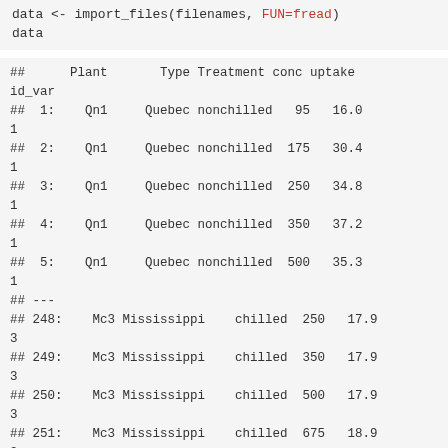data <- import_files(filenames, FUN=fread)
data
##      Plant       Type Treatment conc uptake
id_var
##  1:    Qn1     Quebec nonchilled   95   16.0
1
##  2:    Qn1     Quebec nonchilled  175   30.4
1
##  3:    Qn1     Quebec nonchilled  250   34.8
1
##  4:    Qn1     Quebec nonchilled  350   37.2
1
##  5:    Qn1     Quebec nonchilled  500   35.3
1
## ---
## 248:    Mc3 Mississippi    chilled  250   17.9
3
## 249:    Mc3 Mississippi    chilled  350   17.9
3
## 250:    Mc3 Mississippi    chilled  500   17.9
3
## 251:    Mc3 Mississippi    chilled  675   18.9
2